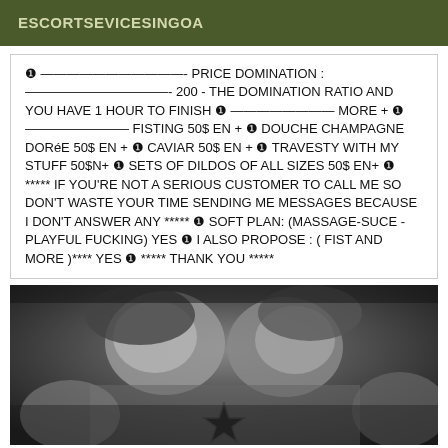ESCORTSEVICESINGOA
❶ ———————————- PRICE DOMINATION : ———————————- 200 - THE DOMINATION RATIO AND YOU HAVE 1 HOUR TO FINISH ❶ ———————— MORE + ❶ ———————— FISTING 50$ EN + ❶ DOUCHE CHAMPAGNE DORéE 50$ EN + ❶ CAVIAR 50$ EN + ❶ TRAVESTY WITH MY STUFF 50$N+ ❶ SETS OF DILDOS OF ALL SIZES 50$ EN+ ❶ ***** IF YOU'RE NOT A SERIOUS CUSTOMER TO CALL ME SO DON'T WASTE YOUR TIME SENDING ME MESSAGES BECAUSE I DON'T ANSWER ANY ***** ❶ SOFT PLAN: (MASSAGE-SUCE - PLAYFUL FUCKING) YES ❶ I ALSO PROPOSE : ( FIST AND MORE )**** YES ❶ ***** THANK YOU *****
[Figure (photo): Black and white photo showing two people close together, one with a star tattoo visible on their body]